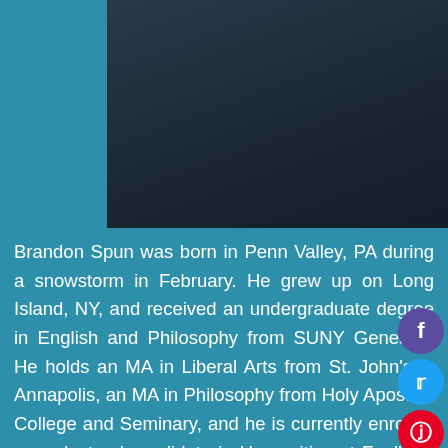[Figure (photo): Bottom portion of a person wearing a dark navy/black jacket, photo cropped to show only the torso/shoulders area against a dark background.]
Brandon Spun was born in Penn Valley, PA during a snowstorm in February. He grew up on Long Island, NY, and received an undergraduate degree in English and Philosophy from SUNY Geneseo. He holds an MA in Liberal Arts from St. John's in Annapolis, an MA in Philosophy from Holy Apostles College and Seminary, and he is currently enrolled as a doctoral candidate in Humanities at Faulkner University. His intellectual interests include literature, ancient philosophy, ethics, and the Liberal Arts in general. A few idiosyncratic favorites include Russian Authors, Edith Nesbit, Robert Louis Stevenson, and Jane Austen. He has two children and lives in Tennessee. He is currently the Dean of Academics at New